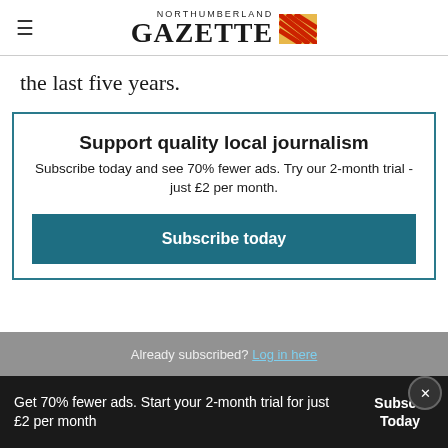NORTHUMBERLAND GAZETTE
the last five years.
Support quality local journalism
Subscribe today and see 70% fewer ads. Try our 2-month trial - just £2 per month.
[Subscribe today button]
Already subscribed? Log in here
Get 70% fewer ads. Start your 2-month trial for just £2 per month  Subscribe Today  ×